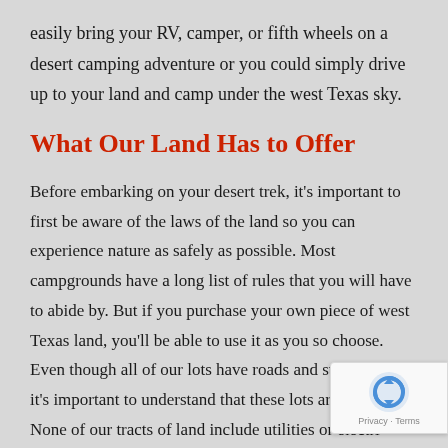easily bring your RV, camper, or fifth wheels on a desert camping adventure or you could simply drive up to your land and camp under the west Texas sky.
What Our Land Has to Offer
Before embarking on your desert trek, it's important to first be aware of the laws of the land so you can experience nature as safely as possible. Most campgrounds have a long list of rules that you will have to abide by. But if you purchase your own piece of west Texas land, you'll be able to use it as you so choose. Even though all of our lots have roads and street names, it's important to understand that these lots are just [... None of our tracts of land include utilities or electri[... You do own water rights in your land which means that,
[Figure (other): Google reCAPTCHA badge overlay in bottom-right corner showing the reCAPTCHA logo and Privacy - Terms links]